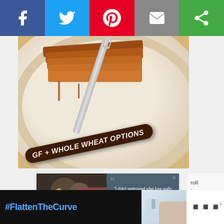[Figure (screenshot): Social media sharing bar with Facebook, Twitter, Pinterest, Email, and Share buttons]
[Figure (photo): Food photo showing pancakes/waffles on a plate with a fork, with curved text label 'GF + WHOLE WHEAT OPTIONS' in dark brown on a banner]
[Figure (photo): Advertisement showing a Black family (man, woman, and two children smiling together) next to a dark teal panel with a quote: "I didn't understand what love really was until I met my children." — Mom, adopted siblings. Close button X in top right corner.]
roll to on
[Figure (screenshot): Bottom ad bar on dark background showing '#FlattenTheCurve' text in blue, a soap/handwashing image, and a weather app logo 'W°']